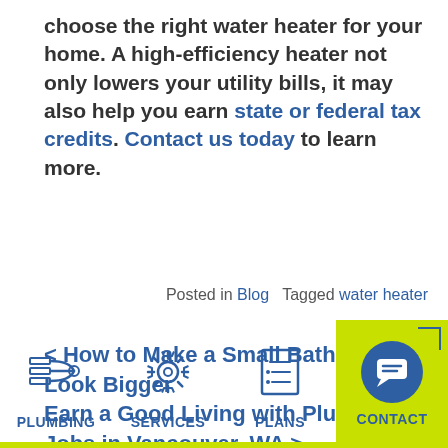choose the right water heater for your home. A high-efficiency heater not only lowers your utility bills, it may also help you earn state or federal tax credits. Contact us today to learn more.
Posted in Blog   Tagged water heater
< How to Make a Small Bathroom Look Bigger
Earn a Good Living with Plumbing Jobs in Vancouver, WA >
[Figure (illustration): Footer navigation bar with icons and labels for PLUMBING, SERVICES, PLANS, and CONTACT on a lime green background tile]
PLUMBING   SERVICES   PLANS   CONTACT